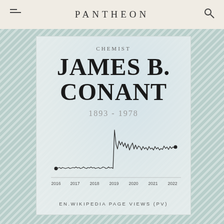PANTHEON
CHEMIST
JAMES B. CONANT
1893 - 1978
[Figure (continuous-plot): Line chart showing EN.Wikipedia page views (PV) for James B. Conant from 2016 to 2022. The line is relatively flat and low from 2016 through early 2019, then spikes sharply upward around 2019, remains elevated and volatile through 2020-2022 with several peaks and troughs. Start and end points are marked with filled circles.]
EN.WIKIPEDIA PAGE VIEWS (PV)